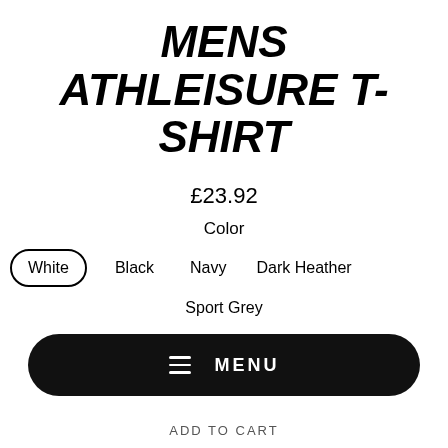MENS ATHLEISURE T-SHIRT
£23.92
Color
White (selected), Black, Navy, Dark Heather
Sport Grey
Size
MENU